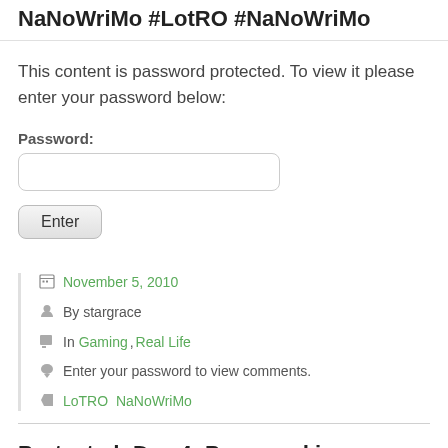NaNoWriMo #LotRO #NaNoWriMo
This content is password protected. To view it please enter your password below:
Password:
Enter
November 5, 2010
By stargrace
In Gaming, Real Life
Enter your password to view comments.
LoTRO  NaNoWriMo
Protected: Day 4: Password is NaNoWriMo #NaNoWriMo #LotRO